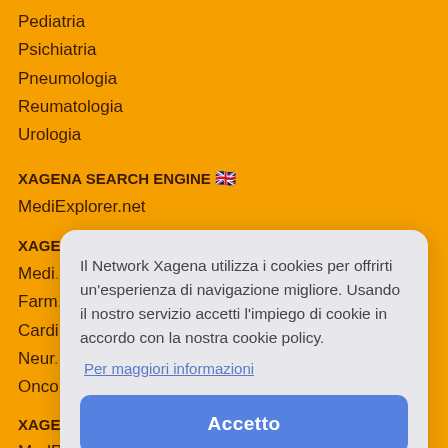Pediatria
Psichiatria
Pneumologia
Reumatologia
Urologia
XAGENA SEARCH ENGINE 🇬🇧
MediExplorer.net
XAGENA MOTORI DI RICERCA 🇮🇹
Medi...
Farm...
Cardi...
Neur...
Onco...
XAGE...
MedP...
Xape...
XAGENA DATABASE 🇮🇹
Il Network Xagena utilizza i cookies per offrirti un'esperienza di navigazione migliore. Usando il nostro servizio accetti l'impiego di cookie in accordo con la nostra cookie policy.
Per maggiori informazioni
Accetto